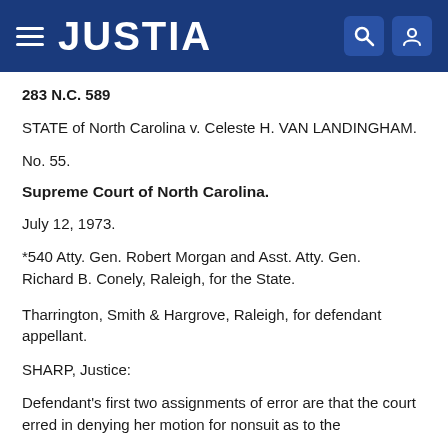JUSTIA
283 N.C. 589
STATE of North Carolina v. Celeste H. VAN LANDINGHAM.
No. 55.
Supreme Court of North Carolina.
July 12, 1973.
*540 Atty. Gen. Robert Morgan and Asst. Atty. Gen. Richard B. Conely, Raleigh, for the State.
Tharrington, Smith & Hargrove, Raleigh, for defendant appellant.
SHARP, Justice:
Defendant's first two assignments of error are that the court erred in denying her motion for nonsuit as to the